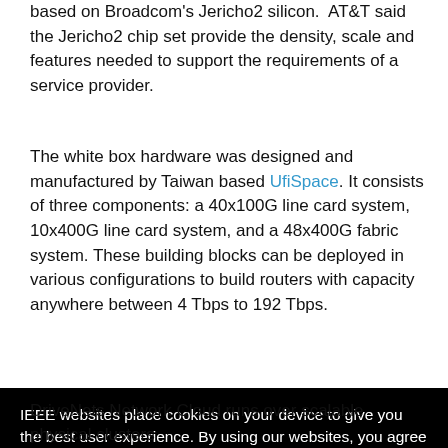based on Broadcom's Jericho2 silicon. AT&T said the Jericho2 chip set provide the density, scale and features needed to support the requirements of a service provider.
The white box hardware was designed and manufactured by Taiwan based UfiSpace. It consists of three components: a 40x100G line card system, 10x400G line card system, and a 48x400G fabric system. These building blocks can be deployed in various configurations to build routers with capacity anywhere between 4 Tbps to 192 Tbps.
[Figure (screenshot): Cookie consent popup overlay with black background. Text reads: 'IEEE websites place cookies on your device to give you the best user experience. By using our websites, you agree to the placement of these cookies. To learn more, read our Privacy Policy.' with an 'Accept & Close' button. Partial text visible behind the overlay on the right side.]
DriveNets Network Cloud runs over scalable physical clusters